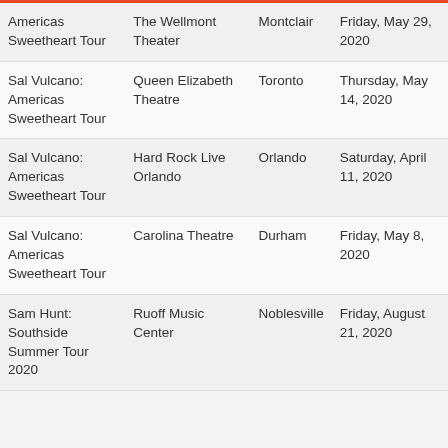| Tour | Venue | City | Date |
| --- | --- | --- | --- |
| Americas Sweetheart Tour | The Wellmont Theater | Montclair | Friday, May 29, 2020 |
| Sal Vulcano: Americas Sweetheart Tour | Queen Elizabeth Theatre | Toronto | Thursday, May 14, 2020 |
| Sal Vulcano: Americas Sweetheart Tour | Hard Rock Live Orlando | Orlando | Saturday, April 11, 2020 |
| Sal Vulcano: Americas Sweetheart Tour | Carolina Theatre | Durham | Friday, May 8, 2020 |
| Sam Hunt: Southside Summer Tour 2020 | Ruoff Music Center | Noblesville | Friday, August 21, 2020 |